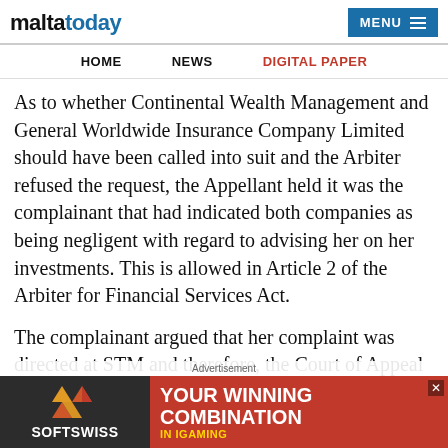maltatoday | MENU
HOME | NEWS | DIGITAL PAPER
As to whether Continental Wealth Management and General Worldwide Insurance Company Limited should have been called into suit and the Arbiter refused the request, the Appellant held it was the complainant that had indicated both companies as being negligent with regard to advising her on her investments. This is allowed in Article 2 of the Arbiter for Financial Services Act.
The complainant argued that her complaint was directed at STM and therefore, the Court of Appeal agreed with Arbiter that the other two companies should not have been included in the complaint proceedings... Arbiter for Financial Services Act.
[Figure (screenshot): SOFTSWISS advertisement banner: 'YOUR WINNING COMBINATION IN IGAMING']